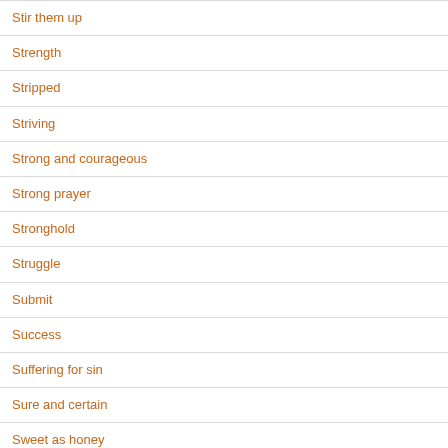Stir them up
Strength
Stripped
Striving
Strong and courageous
Strong prayer
Stronghold
Struggle
Submit
Success
Suffering for sin
Sure and certain
Sweet as honey